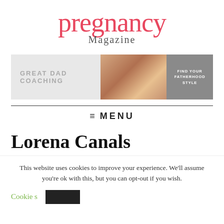[Figure (logo): Pregnancy Magazine logo with 'pregnancy' in large pink/red serif font and 'Magazine' in smaller gray serif font below]
[Figure (infographic): Advertisement banner for Great Dad Coaching with text 'GREAT DAD COACHING' on light gray left panel, a photo of a father with children in the center, and 'FIND YOUR FATHERHOOD STYLE' text on gray right panel]
≡ MENU
Lorena Canals
This website uses cookies to improve your experience. We'll assume you're ok with this, but you can opt-out if you wish.
Cookie s...